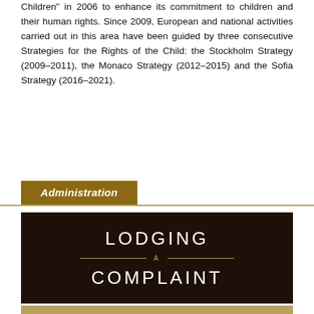Children” in 2006 to enhance its commitment to children and their human rights. Since 2009, European and national activities carried out in this area have been guided by three consecutive Strategies for the Rights of the Child: the Stockholm Strategy (2009–2011), the Monaco Strategy (2012–2015) and the Sofia Strategy (2016–2021).
Administration
[Figure (infographic): Dark brown banner with white uppercase text reading 'LODGING' on top, a decorative horizontal line with 'A' in the center, and 'COMPLAINT' below, on a dark brown background.]